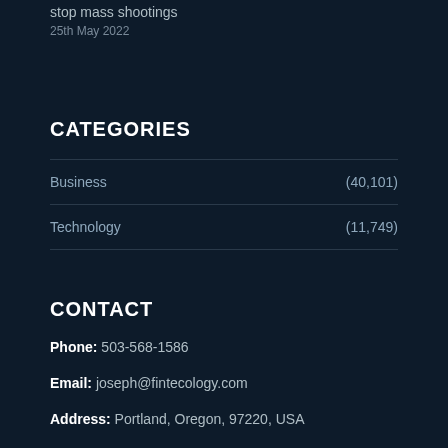stop mass shootings
25th May 2022
CATEGORIES
Business (40,101)
Technology (11,749)
CONTACT
Phone: 503-568-1586
Email: joseph@fintecology.com
Address: Portland, Oregon, 97220, USA